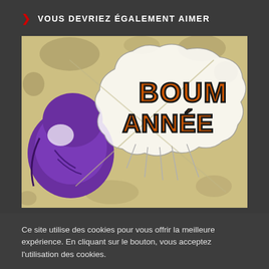VOUS DEVRIEZ ÉGALEMENT AIMER
[Figure (illustration): Comic/cartoon style image showing a purple character and a speech bubble with orange text reading 'BOUM ANNÉE' on a distressed beige/tan background]
Ce site utilise des cookies pour vous offrir la meilleure expérience. En cliquant sur le bouton, vous acceptez l'utilisation des cookies.
Paramètres
J'accepte